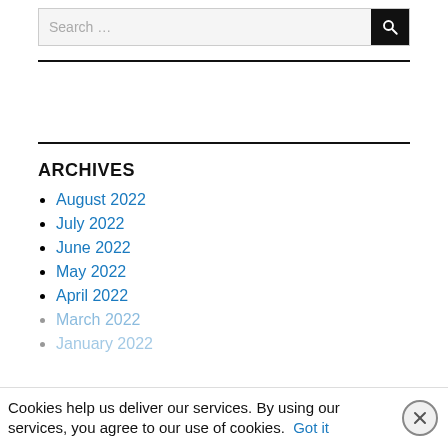[Figure (screenshot): Search bar with text 'Search ...' and a black search button with magnifying glass icon]
ARCHIVES
August 2022
July 2022
June 2022
May 2022
April 2022
March 2022
January 2022
Cookies help us deliver our services. By using our services, you agree to our use of cookies. Got it